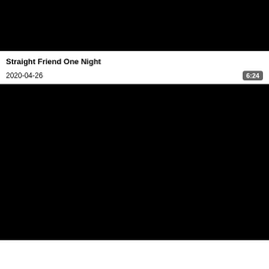[Figure (photo): Black video thumbnail (top)]
Straight Friend One Night
2020-04-26
6:24
[Figure (photo): Black video thumbnail (bottom)]